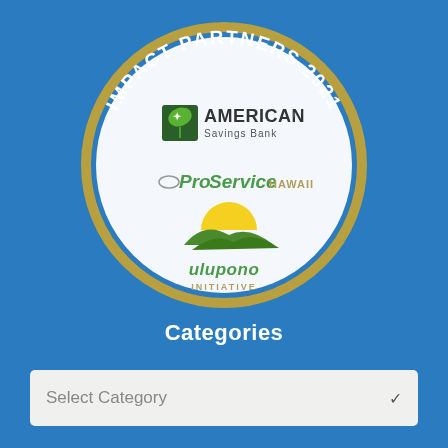[Figure (logo): Impact Partners 2021 circular badge with gold border on blue background, containing logos of American Savings Bank, ProService Hawaii, and Ulupono Initiative]
Categories
Select Category